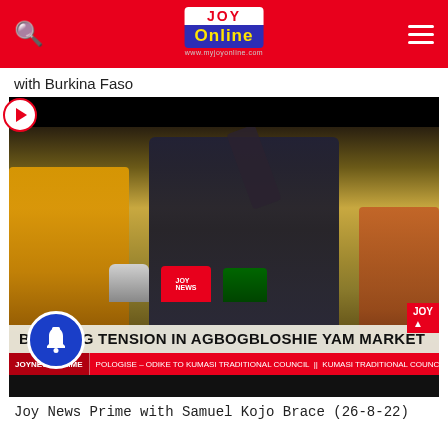JOY Online
with Burkina Faso
[Figure (screenshot): Video thumbnail showing a press conference with a man gesturing with finger raised, multiple microphones in front, with lower-third caption reading 'BREWING TENSION IN AGBOGBLOSHIE YAM MARKET' and a JoyNews Prime ticker bar at the bottom]
Joy News Prime with Samuel Kojo Brace (26-8-22)